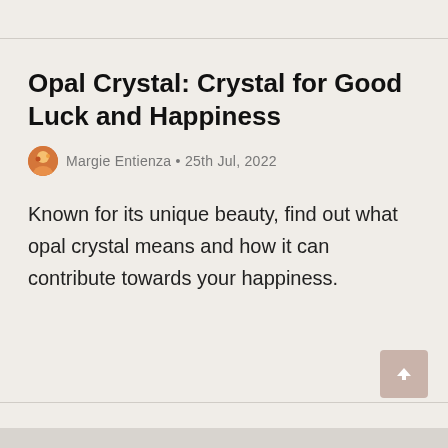Opal Crystal: Crystal for Good Luck and Happiness
Margie Entienza • 25th Jul, 2022
Known for its unique beauty, find out what opal crystal means and how it can contribute towards your happiness.